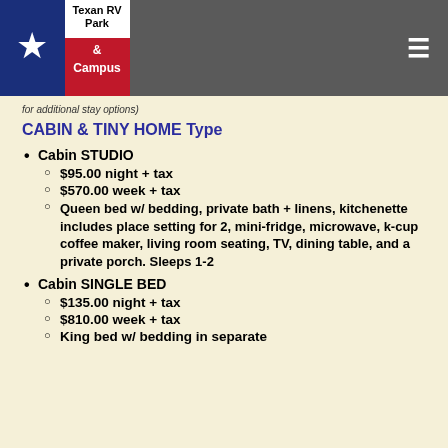Texan RV Park & Campus
for additional stay options)
CABIN & TINY HOME Type
Cabin STUDIO
$95.00 night + tax
$570.00 week + tax
Queen bed w/ bedding, private bath + linens, kitchenette includes place setting for 2, mini-fridge, microwave, k-cup coffee maker, living room seating, TV, dining table, and a private porch. Sleeps 1-2
Cabin SINGLE BED
$135.00 night + tax
$810.00 week + tax
King bed w/ bedding in separate